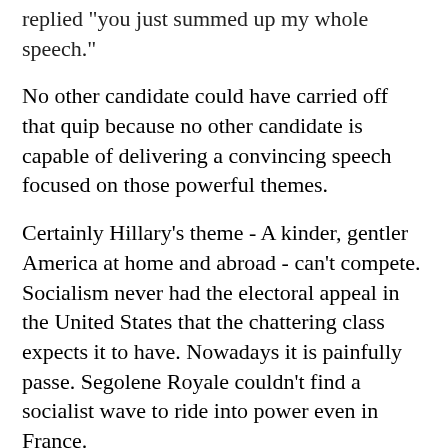replied "you just summed up my whole speech."
No other candidate could have carried off that quip because no other candidate is capable of delivering a convincing speech focused on those powerful themes.
Certainly Hillary's theme - A kinder, gentler America at home and abroad - can't compete. Socialism never had the electoral appeal in the United States that the chattering class expects it to have. Nowadays it is painfully passe. Segolene Royale couldn't find a socialist wave to ride into power even in France.
Besides, Hillary is indelibly stained by her close association with Moveon.org and the other moonbats of the pseudo-pacifist left. When the calendar reads November, 2008 the world is likely to be much less hospitable to anti-war tomfoolery than it is today. By that time either Iran will have had to cede control of Iraq to the United States giving us an historic victory, or our conflict with Iran will have broken into the open. Either